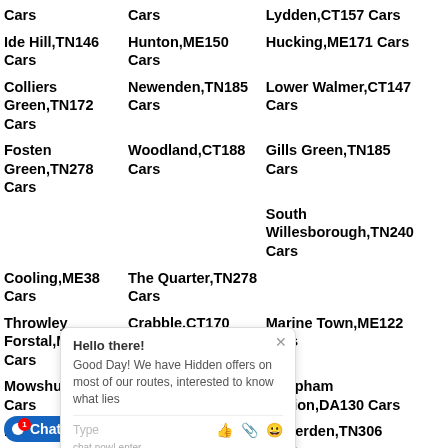Cars
Cars
Lydden,CT157 Cars
Ide Hill,TN146 Cars
Hunton,ME150 Cars
Hucking,ME171 Cars
Colliers Green,TN172 Cars
Newenden,TN185 Cars
Lower Walmer,CT147 Cars
Fosten Green,TN278 Cars
Woodland,CT188 Cars
Gills Green,TN185 Cars
South Willesborough,TN240 Cars
Cooling,ME38 Cars
The Quarter,TN278 Cars
Throwley Forstal,ME130 Cars
Crabble,CT170 Cars
Marine Town,ME122 Cars
Mowshurst,TN86 Cars
Monks Hill,TN278 Cars
Meopham Station,DA130 Cars
Higham (partial)
Nethercourt,CT110 Cars
Tenterden,TN306 Cars
Broad (partial)
Broadstairs,CT101 Cars
Shorne,DA123 Cars
Under (partial)
Clapper Hill,TN278 Cars
Claygate Cross,TN158 Cars
Cobham,DA123 Cars
Cliffe Woods,ME38 Cars
Chillmill,TN127 Cars
F...,ME137
Wigmore,ME80 Cars
Fairseat,TN157 Cars